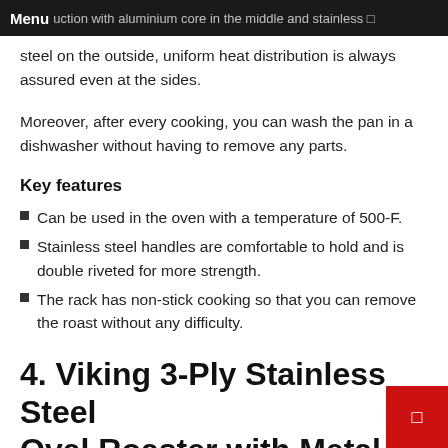Menu uction with aluminium core in the middle and stainless steel on the outside, uniform heat distribution is always assured even at the sides.
steel on the outside, uniform heat distribution is always assured even at the sides.
Moreover, after every cooking, you can wash the pan in a dishwasher without having to remove any parts.
Key features
Can be used in the oven with a temperature of 500-F.
Stainless steel handles are comfortable to hold and is double riveted for more strength.
The rack has non-stick cooking so that you can remove the roast without any difficulty.
4. Viking 3-Ply Stainless Steel Oval Roaster with Metal Lid and